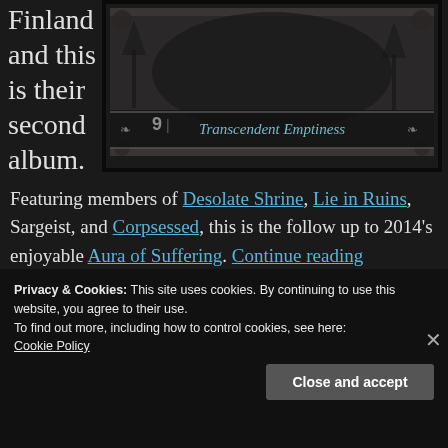Finland and this is their second album.
[Figure (photo): Album cover for 'Transcendent Emptiness' — dark gothic imagery with ornate borders and gothic text]
Featuring members of Desolate Shrine, Lie in Ruins, Sargeist, and Corpsessed, this is the follow up to 2014's enjoyable Aura of Suffering. Continue reading
Privacy & Cookies: This site uses cookies. By continuing to use this website, you agree to their use.
To find out more, including how to control cookies, see here: Cookie Policy
Close and accept